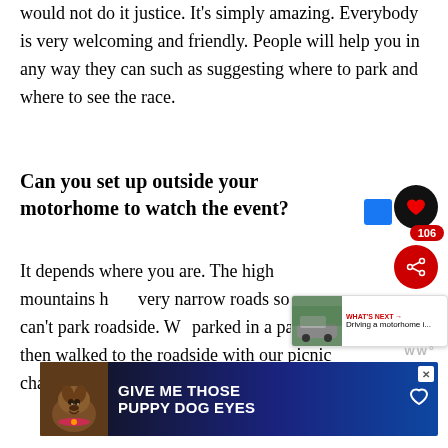would not do it justice. It's simply amazing. Everybody is very welcoming and friendly. People will help you in any way they can such as suggesting where to park and where to see the race.
Can you set up outside your motorhome to watch the event?
It depends where you are. The high mountains have very narrow roads so you can't park roadside. We parked in a paddock then walked to the roadside with our picnic chairs and table.
[Figure (infographic): Advertisement banner: 'GIVE ME THOSE PUPPY DOG EYES' with dog image on dark blue background]
[Figure (infographic): Social media UI overlay: heart button (106 likes), share button, and 'What's Next' card showing motorhome driving article]